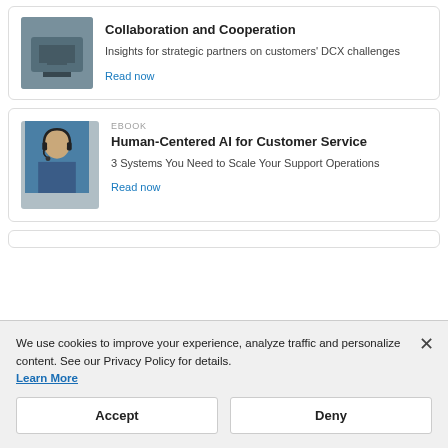[Figure (photo): Partial card at top: photo of a device/printer (partially visible)]
Collaboration and Cooperation
Insights for strategic partners on customers' DCX challenges
Read now
[Figure (photo): Photo of a person wearing a headset, speaking on phone]
EBOOK
Human-Centered AI for Customer Service
3 Systems You Need to Scale Your Support Operations
Read now
We use cookies to improve your experience, analyze traffic and personalize content. See our Privacy Policy for details. Learn More
Accept
Deny